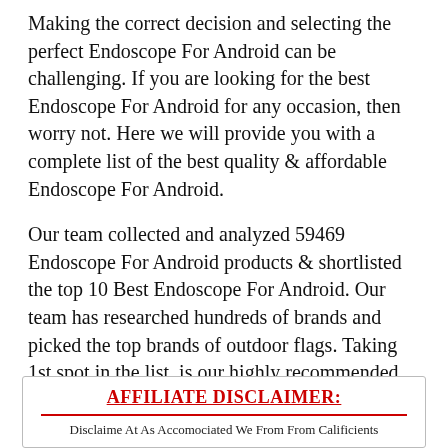Making the correct decision and selecting the perfect Endoscope For Android can be challenging. If you are looking for the best Endoscope For Android for any occasion, then worry not. Here we will provide you with a complete list of the best quality & affordable Endoscope For Android.
Our team collected and analyzed 59469 Endoscope For Android products & shortlisted the top 10 Best Endoscope For Android. Our team has researched hundreds of brands and picked the top brands of outdoor flags. Taking 1st spot in the list, is our highly recommended product for you.
[Figure (photo): Broken image placeholder with alt text 'Endoscope For Android']
AFFILIATE DISCLAIMER: